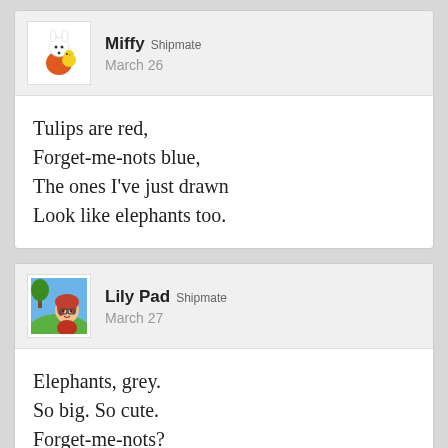Miffy Shipmate
March 26
Tulips are red,
Forget-me-nots blue,
The ones I've just drawn
Look like elephants too.
Lily Pad Shipmate
March 27
Elephants, grey.
So big. So cute.
Forget-me-nots?